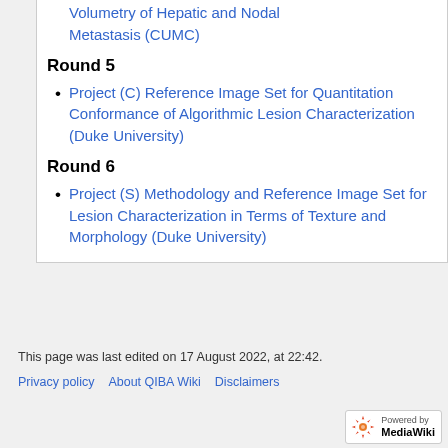Volumetry of Hepatic and Nodal Metastasis (CUMC)
Round 5
Project (C) Reference Image Set for Quantitation Conformance of Algorithmic Lesion Characterization (Duke University)
Round 6
Project (S) Methodology and Reference Image Set for Lesion Characterization in Terms of Texture and Morphology (Duke University)
This page was last edited on 17 August 2022, at 22:42.
Privacy policy · About QIBA Wiki · Disclaimers